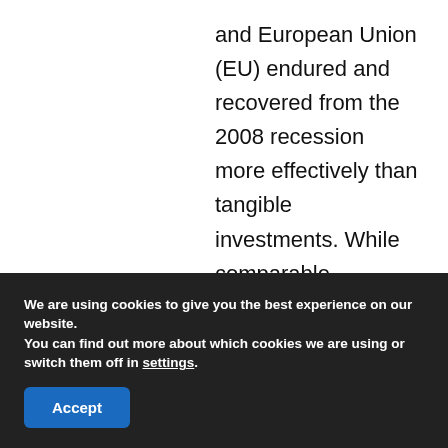and European Union (EU) endured and recovered from the 2008 recession more effectively than tangible investments. While comparable Canadian data is not available at this time (hence the importance of a push for data), diversifying its portfolio of goods and services will put Canada in a significantly better position to endure future economic downturns.
We are using cookies to give you the best experience on our website.
You can find out more about which cookies we are using or switch them off in settings.
Accept